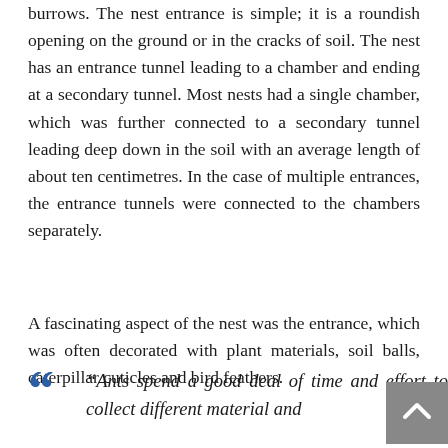burrows. The nest entrance is simple; it is a roundish opening on the ground or in the cracks of soil. The nest has an entrance tunnel leading to a chamber and ending at a secondary tunnel. Most nests had a single chamber, which was further connected to a secondary tunnel leading deep down in the soil with an average length of about ten centimetres. In the case of multiple entrances, the entrance tunnels were connected to the chambers separately.
A fascinating aspect of the nest was the entrance, which was often decorated with plant materials, soil balls, caterpillar cuticles and bird feathers.
“Ants spend a good deal of time and effort to collect different material and